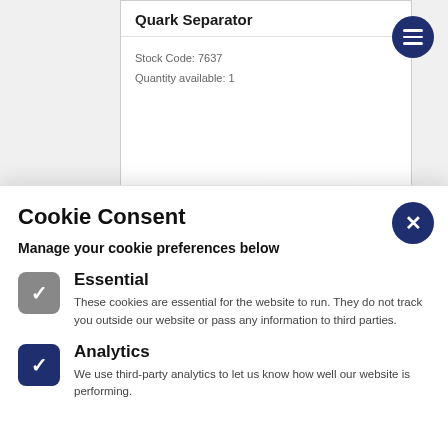Quark Separator
Stock Code: 7637
Quantity available: 1
Cookie Consent
Manage your cookie preferences below
Essential — These cookies are essential for the website to run. They do not track you outside our website or pass any information to third parties.
Analytics — We use third-party analytics to let us know how well our website is performing.